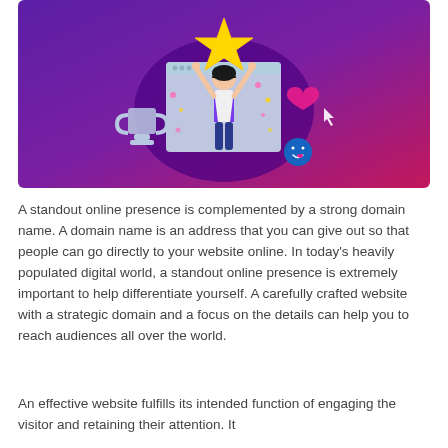[Figure (illustration): Illustration on a purple-to-pink gradient background showing a woman with arms raised holding a large yellow star above her head, standing in front of a browser window graphic. To the left is a trophy cup, to the right is a heart icon and cursor arrow, and below right is a smiley face with a heart. Confetti dots scatter around.]
A standout online presence is complemented by a strong domain name. A domain name is an address that you can give out so that people can go directly to your website online. In today's heavily populated digital world, a standout online presence is extremely important to help differentiate yourself. A carefully crafted website with a strategic domain and a focus on the details can help you to reach audiences all over the world.
An effective website fulfills its intended function of engaging the visitor and retaining their attention. It